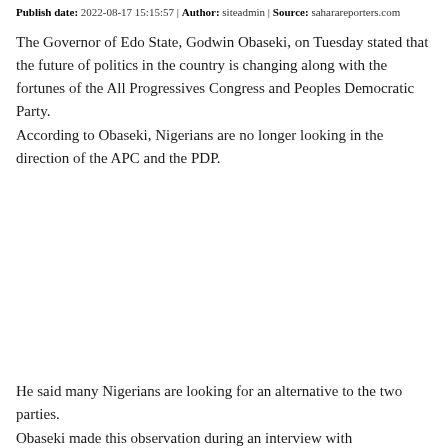Publish date: 2022-08-17 15:15:57 | Author: siteadmin | Source: saharareporters.com
The Governor of Edo State, Godwin Obaseki, on Tuesday stated that the future of politics in the country is changing along with the fortunes of the All Progressives Congress and Peoples Democratic Party. According to Obaseki, Nigerians are no longer looking in the direction of the APC and the PDP.
He said many Nigerians are looking for an alternative to the two parties. Obaseki made this observation during an interview with